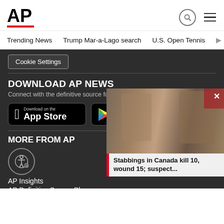AP
Trending News | Trump Mar-a-Lago search | U.S. Open Tennis
Cookie Settings
DOWNLOAD AP NEWS
Connect with the definitive source for global and local news
[Figure (screenshot): App Store and Google Play download buttons on dark background]
MORE FROM AP
AP Insights
AP Definitive Source Blog
AP Images Spotlight
[Figure (photo): News popup overlay showing two individuals with headline: Stabbings in Canada kill 10, wound 15; suspect...]